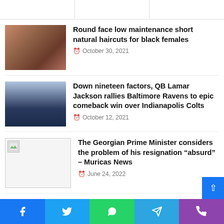Round face low maintenance short natural haircuts for black females — October 30, 2021
Down nineteen factors, QB Lamar Jackson rallies Baltimore Ravens to epic comeback win over Indianapolis Colts — October 12, 2021
The Georgian Prime Minister considers the problem of his resignation “absurd” – Muricas News — June 24, 2022
Ukraine conflict: Russian air pressure assaults arms depot in Kharkiv | 5 hi factors | World News
Facebook Twitter WhatsApp Telegram Phone